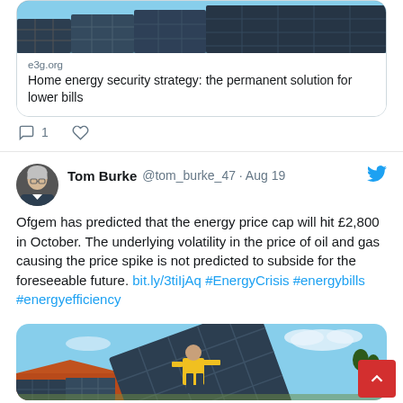[Figure (screenshot): Partial top of a tweet showing a link card with an image of solar panels, domain e3g.org, and title 'Home energy security strategy: the permanent solution for lower bills', with reply count 1 and a like icon below]
Tom Burke @tom_burke_47 · Aug 19
Ofgem has predicted that the energy price cap will hit £2,800 in October. The underlying volatility in the price of oil and gas causing the price spike is not predicted to subside for the foreseeable future. bit.ly/3tiIjAq #EnergyCrisis #energybills #energyefficiency
[Figure (photo): Photo of a person in a hi-vis vest installing or holding a large solar panel on a roof, with more solar panels visible in the background and a blue sky]